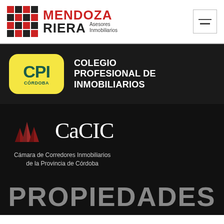[Figure (logo): Mendoza Riera Asesores Inmobiliarios logo with grid icon]
[Figure (logo): CPI Córdoba - Colegio Profesional de Inmobiliarios badge logo]
[Figure (logo): CaCIC - Cámara de Corredores Inmobiliarios de la Provincia de Córdoba logo with building icon]
PROPIEDADES